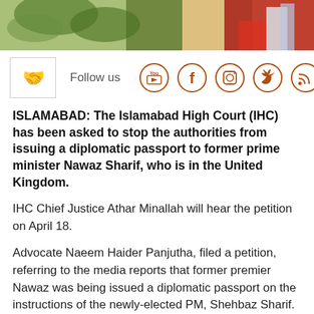[Figure (photo): Top banner photo showing green plants/foliage and colorful background (red, blue, white)]
[Figure (infographic): Follow us social media bar with wave/hand emoji icon box, Follow us label, and circular social media icons: YouTube, Facebook, Instagram, Twitter, RSS]
ISLAMABAD: The Islamabad High Court (IHC) has been asked to stop the authorities from issuing a diplomatic passport to former prime minister Nawaz Sharif, who is in the United Kingdom.
IHC Chief Justice Athar Minallah will hear the petition on April 18.
Advocate Naeem Haider Panjutha, filed a petition, referring to the media reports that former premier Nawaz was being issued a diplomatic passport on the instructions of the newly-elected PM, Shehbaz Sharif.